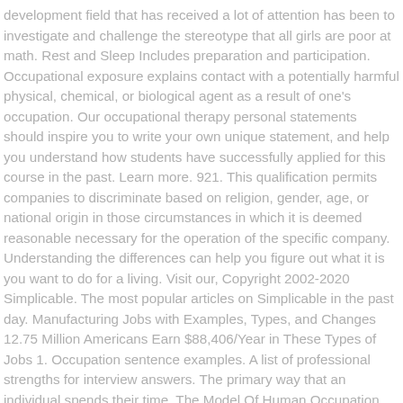development field that has received a lot of attention has been to investigate and challenge the stereotype that all girls are poor at math. Rest and Sleep Includes preparation and participation. Occupational exposure explains contact with a potentially harmful physical, chemical, or biological agent as a result of one's occupation. Our occupational therapy personal statements should inspire you to write your own unique statement, and help you understand how students have successfully applied for this course in the past. Learn more. 921. This qualification permits companies to discriminate based on religion, gender, age, or national origin in those circumstances in which it is deemed reasonable necessary for the operation of the specific company. Understanding the differences can help you figure out what it is you want to do for a living. Visit our, Copyright 2002-2020 Simplicable. The most popular articles on Simplicable in the past day. Manufacturing Jobs with Examples, Types, and Changes 12.75 Million Americans Earn $88,406/Year in These Types of Jobs 1. Occupation sentence examples. A list of professional strengths for interview answers. The primary way that an individual spends their time. The Model Of Human Occupation (MOHO) frame of reference in occupational therapy is based on theories and assumptions given by the Mary Reilly. Occupation refers to the kind